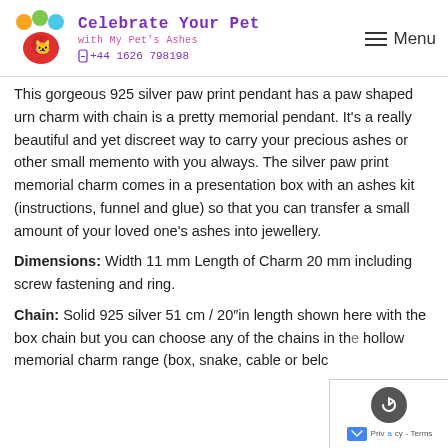Celebrate Your Pet with My Pet's Ashes | +44 1626 798198 | Menu
This gorgeous 925 silver paw print pendant has a paw shaped urn charm with chain is a pretty memorial pendant. It's a really beautiful and yet discreet way to carry your precious ashes or other small memento with you always. The silver paw print memorial charm comes in a presentation box with an ashes kit (instructions, funnel and glue) so that you can transfer a small amount of your loved one's ashes into jewellery.
Dimensions: Width 11 mm Length of Charm 20 mm including screw fastening and ring.
Chain: Solid 925 silver 51 cm / 20"in length shown here with the box chain but you can choose any of the chains in the hollow memorial charm range (box, snake, cable or belc...